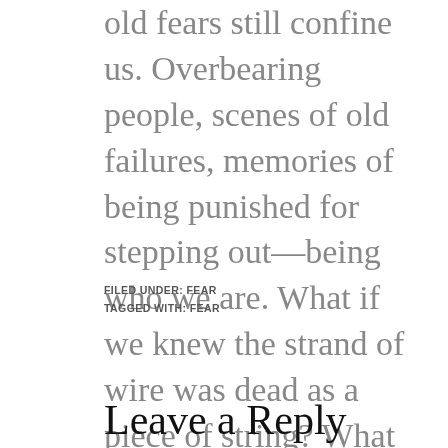old fears still confine us. Overbearing people, scenes of old failures, memories of being punished for stepping out—being who we are. What if we knew the strand of wire was dead as a piece of string? What would we do? How would we live?
FILED UNDER: FEAR
TAGGED WITH: FEAR
Leave a Reply